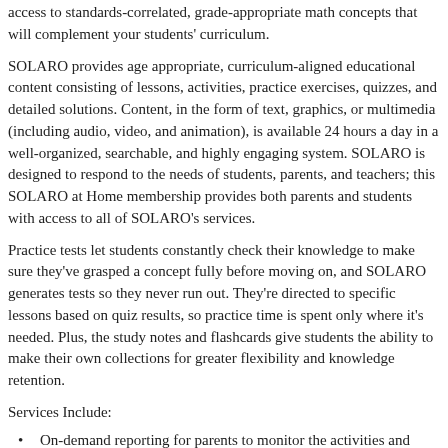access to standards-correlated, grade-appropriate math concepts that will complement your students' curriculum.
SOLARO provides age appropriate, curriculum-aligned educational content consisting of lessons, activities, practice exercises, quizzes, and detailed solutions. Content, in the form of text, graphics, or multimedia (including audio, video, and animation), is available 24 hours a day in a well-organized, searchable, and highly engaging system. SOLARO is designed to respond to the needs of students, parents, and teachers; this SOLARO at Home membership provides both parents and students with access to all of SOLARO's services.
Practice tests let students constantly check their knowledge to make sure they've grasped a concept fully before moving on, and SOLARO generates tests so they never run out. They're directed to specific lessons based on quiz results, so practice time is spent only where it's needed. Plus, the study notes and flashcards give students the ability to make their own collections for greater flexibility and knowledge retention.
Services Include:
On-demand reporting for parents to monitor the activities and progress for each registered child.
Standards-aligned reporting provides parents with clear explanations of